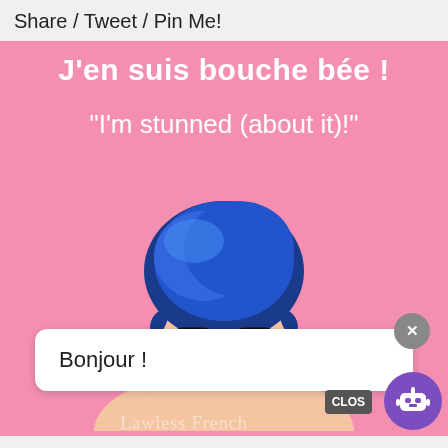Share / Tweet / Pin Me!
[Figure (illustration): Pink background pop-art style illustration of a woman with blue hair covering her mouth with both hands in surprise, with a speech bubble overlay saying 'Bonjour !', a close button (x), a CLOS button, and a purple robot chat icon. Text overlays read: 'J\'en suis bouche bée !' and '"I\'m stunned (about it)!"']